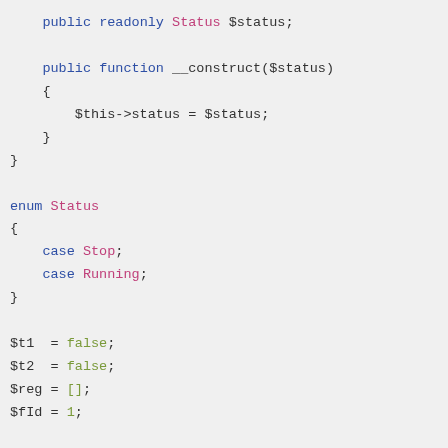public readonly Status $status;

public function __construct($status)
{
    $this->status = $status;
}
}

enum Status
{
    case Stop;
    case Running;
}

$t1  = false;
$t2  = false;
$reg = [];
$fId = 1;